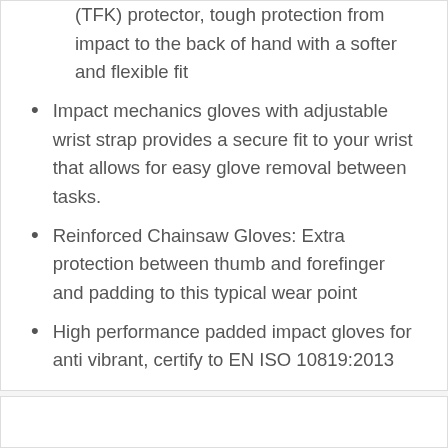(TFK) protector, tough protection from impact to the back of hand with a softer and flexible fit
Impact mechanics gloves with adjustable wrist strap provides a secure fit to your wrist that allows for easy glove removal between tasks.
Reinforced Chainsaw Gloves: Extra protection between thumb and forefinger and padding to this typical wear point
High performance padded impact gloves for anti vibrant, certify to EN ISO 10819:2013